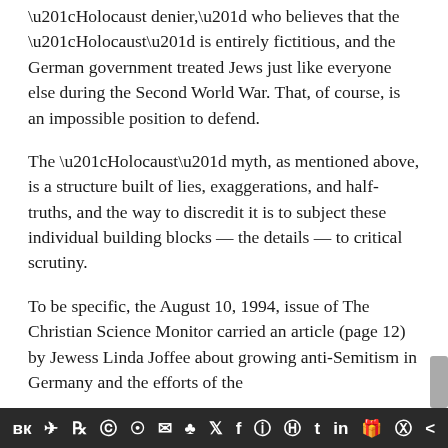“Holocaust denier,” who believes that the “Holocaust” is entirely fictitious, and the German government treated Jews just like everyone else during the Second World War. That, of course, is an impossible position to defend.
The “Holocaust” myth, as mentioned above, is a structure built of lies, exaggerations, and half-truths, and the way to discredit it is to subject these individual building blocks — the details — to critical scrutiny.
To be specific, the August 10, 1994, issue of The Christian Science Monitor carried an article (page 12) by Jewess Linda Joffee about growing anti-Semitism in Germany and the efforts of the
вк ✈ ℞ Ⓦ ☉ ✉ ♣ 𝕏 f ⓘ Ⓟ t in 🎁 Ⓦ <